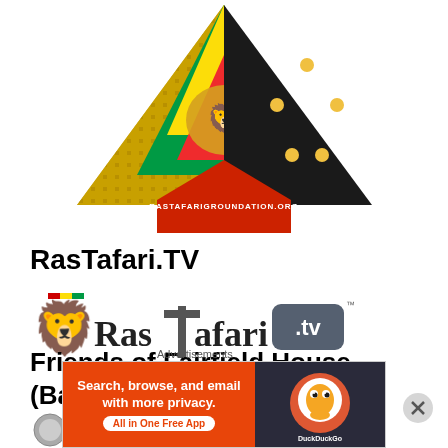[Figure (logo): Rastafari Groundation hexagonal logo with lion, Ethiopian flag colors, and text RASTAFARIGROUNDATION.ORG]
RasTafari.TV
[Figure (logo): RasTafari.tv logo with lion icon and tagline: The Parallel Connection Between Prophecy & History]
Friends of Fairfield House (Bath, England)
[Figure (photo): Partial image strip showing flags and buildings for Friends of Fairfield House]
Advertisements
[Figure (other): DuckDuckGo advertisement banner: Search, browse, and email with more privacy. All in One Free App]